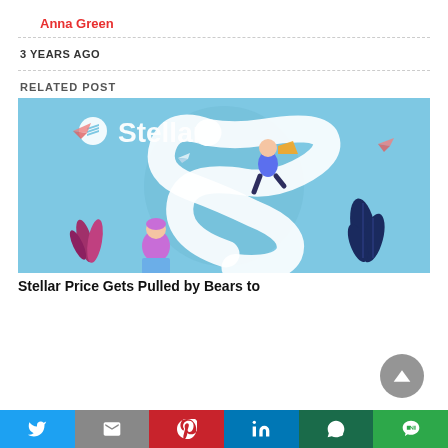Anna Green
3 YEARS AGO
RELATED POST
[Figure (illustration): Stellar cryptocurrency promotional illustration showing the Stellar logo and brand name with animated characters: a man sitting on top of the large white Stellar (XLM) coin/logo symbol using a megaphone, a woman sitting cross-legged working on a laptop below, decorative plants and paper airplanes on a light blue background.]
Stellar Price Gets Pulled by Bears to